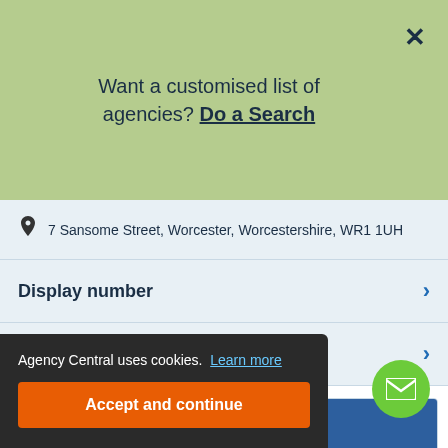Want a customised list of agencies? Do a Search
7 Sansome Street, Worcester, Worcestershire, WR1 1UH
Display number
Visit website
BlackFox Solutions
BlackFox Solutions focuses on recruiting for vacancies in areas such as Business Support, Sales, Engineering, and Supply...
44-46 Elmwood Avenue, Belfast, County Antrim, BT9 6AZ
Agency Central uses cookies. Learn more
Accept and continue